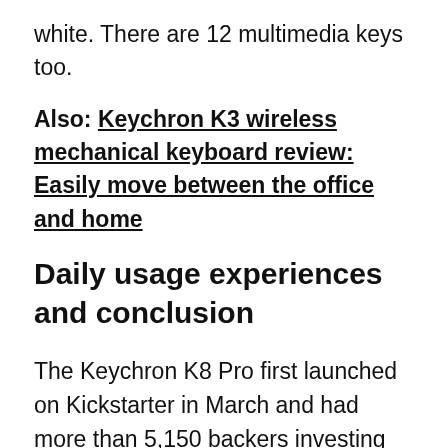white. There are 12 multimedia keys too.
Also: Keychron K3 wireless mechanical keyboard review: Easily move between the office and home
Daily usage experiences and conclusion
The Keychron K8 Pro first launched on Kickstarter in March and had more than 5,150 backers investing $673,000. The barebones option will be available for $79, and the fully assembled RGB model with an aluminum frame for $109. There will also be a RGB model with a plastic frame available for $99. Fully assembled switch options include